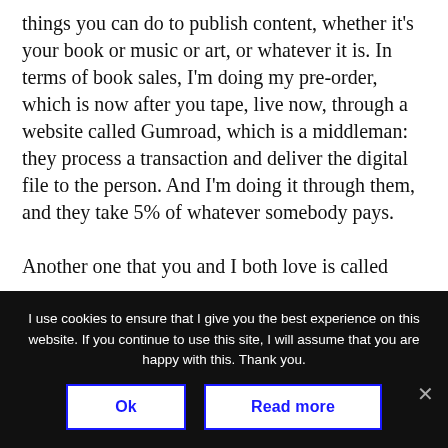things you can do to publish content, whether it's your book or music or art, or whatever it is. In terms of book sales, I'm doing my pre-order, which is now after you tape, live now, through a website called Gumroad, which is a middleman: they process a transaction and deliver the digital file to the person. And I'm doing it through them, and they take 5% of whatever somebody pays.
Another one that you and I both love is called
I use cookies to ensure that I give you the best experience on this website. If you continue to use this site, I will assume that you are happy with this. Thank you.
Ok
Read more